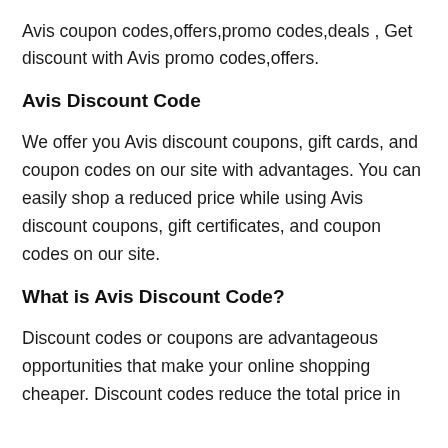Avis coupon codes,offers,promo codes,deals , Get discount with Avis promo codes,offers.
Avis Discount Code
We offer you Avis discount coupons, gift cards, and coupon codes on our site with advantages. You can easily shop a reduced price while using Avis discount coupons, gift certificates, and coupon codes on our site.
What is Avis Discount Code?
Discount codes or coupons are advantageous opportunities that make your online shopping cheaper. Discount codes reduce the total price in